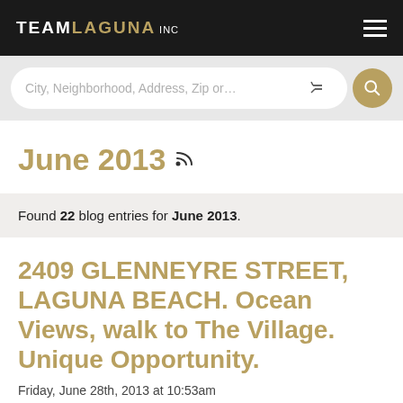TEAM LAGUNA INC
City, Neighborhood, Address, Zip or…
June 2013
Found 22 blog entries for June 2013.
2409 GLENNEYRE STREET, LAGUNA BEACH. Ocean Views, walk to The Village. Unique Opportunity.
Friday, June 28th, 2013 at 10:53am